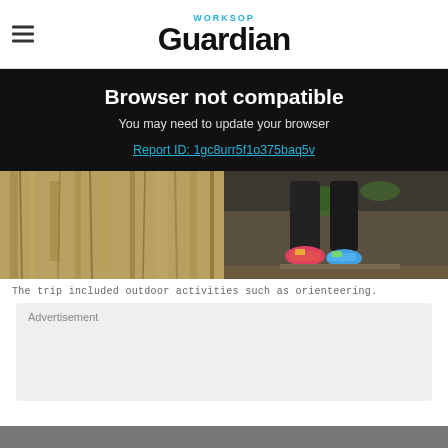WORKSOP Guardian
Browser not compatible
You may need to update your browser
Report ID: 1gc8urr5f1o375baq5v
[Figure (photo): Outdoor photo showing bark of a tree on the left and a person's legs/feet in colorful shoes on the right, suggesting outdoor orienteering activity.]
The trip included outdoor activities such as orienteering.
Advertisement